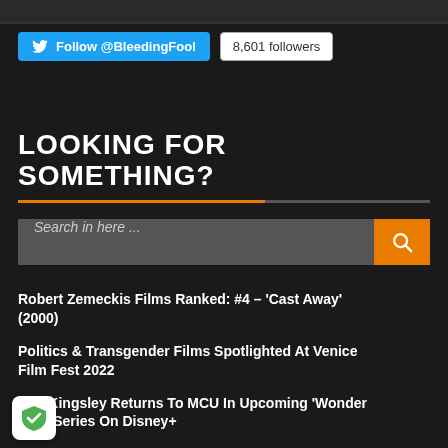[Figure (screenshot): Top dark bar at top of page]
Follow @BleedingFool  8,601 followers
LOOKING FOR SOMETHING?
Search in here ...
Robert Zemeckis Films Ranked: #4 – 'Cast Away' (2000)
Politics & Transgender Films Spotlighted At Venice Film Fest 2022
Ben Kingsley Returns To MCU In Upcoming 'Wonder Man' Series On Disney+